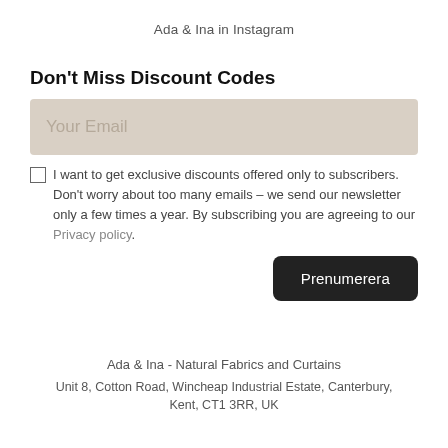Ada & Ina in Instagram
Don't Miss Discount Codes
Your Email
I want to get exclusive discounts offered only to subscribers. Don't worry about too many emails – we send our newsletter only a few times a year. By subscribing you are agreeing to our Privacy policy.
Prenumerera
Ada & Ina - Natural Fabrics and Curtains
Unit 8, Cotton Road, Wincheap Industrial Estate, Canterbury, Kent, CT1 3RR, UK